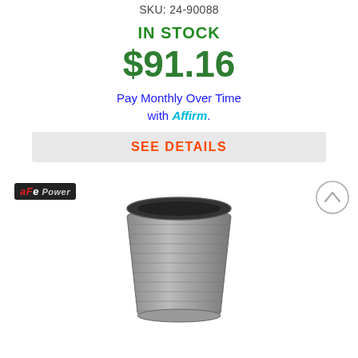SKU: 24-90088
IN STOCK
$91.16
Pay Monthly Over Time with Affirm.
SEE DETAILS
[Figure (photo): aFe Power brand logo badge on dark background, and a scroll-to-top circular button with chevron/arrow icon]
[Figure (photo): aFe Power air filter product photo showing a grey/silver conical air filter with ribbed mesh body and oval top opening]